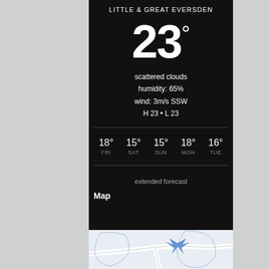LITTLE & GREAT EVERSDEN
23°
scattered clouds
humidity: 65%
wind: 3m/s SSW
H 23 • L 23
| FRI | SAT | SUN | MON | TUE |
| --- | --- | --- | --- | --- |
| 18° | 15° | 15° | 18° | 16° |
extended forecast
Map
[Figure (map): Street/area map showing Little & Great Eversden location with road outlines and a location marker]